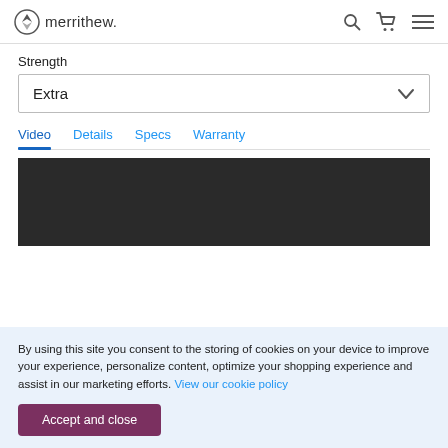merrithew.
Strength
Extra
Video   Details   Specs   Warranty
[Figure (other): Dark video player area]
By using this site you consent to the storing of cookies on your device to improve your experience, personalize content, optimize your shopping experience and assist in our marketing efforts. View our cookie policy
Accept and close